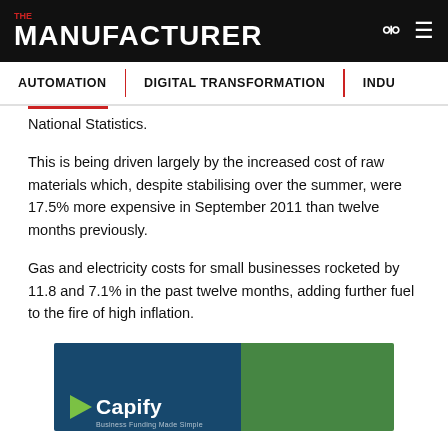THE MANUFACTURER
AUTOMATION | DIGITAL TRANSFORMATION | INDU...
National Statistics.
This is being driven largely by the increased cost of raw materials which, despite stabilising over the summer, were 17.5% more expensive in September 2011 than twelve months previously.
Gas and electricity costs for small businesses rocketed by 11.8 and 7.1% in the past twelve months, adding further fuel to the fire of high inflation.
[Figure (photo): Two workers in hi-vis vests and hard hats with Capify advertisement overlay]